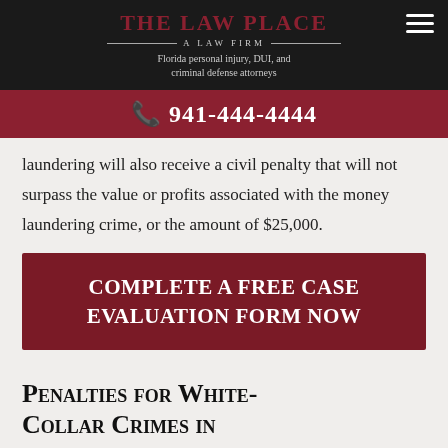The Law Place — A Law Firm — Florida personal injury, DUI, and criminal defense attorneys
☎ 941-444-4444
laundering will also receive a civil penalty that will not surpass the value or profits associated with the money laundering crime, or the amount of $25,000.
Complete a Free Case Evaluation form now
Penalties for White-Collar Crimes in